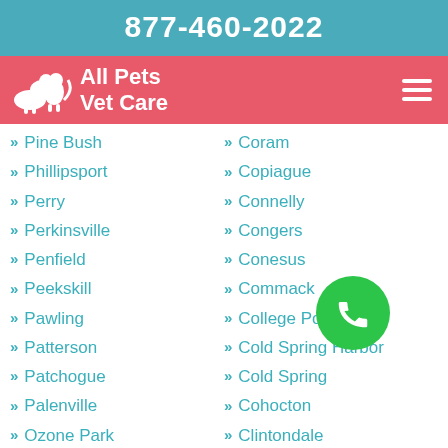877-460-2022
[Figure (logo): All Pets Vet Care logo with white silhouette of animals and text 'All Pets Vet Care' on pink/red background]
Pine Bush
Coram
Phillipsport
Copiague
Perry
Connelly
Perkinsville
Congers
Penfield
Conesus
Peekskill
Commack
Pawling
College Point
Patterson
Cold Spring Harbor
Patchogue
Cold Spring
Palenville
Cohocton
Ozone Park
Clintondale
Oyster Bay
Clarkson
Otisville
Circleville